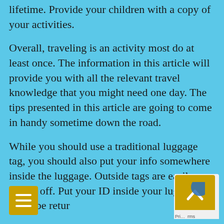lifetime. Provide your children with a copy of your activities.
Overall, traveling is an activity most do at least once. The information in this article will provide you with all the relevant travel knowledge that you might need one day. The tips presented in this article are going to come in handy sometime down the road.
While you should use a traditional luggage tag, you should also put your info somewhere inside the luggage. Outside tags are easily ripped off. Put your ID inside your luggage so it can be returned to you if it is lost.